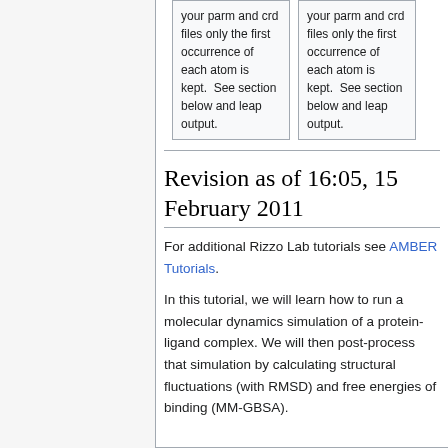| your parm and crd files only the first occurrence of each atom is kept.  See section below and leap output. | your parm and crd files only the first occurrence of each atom is kept.  See section below and leap output. |
Revision as of 16:05, 15 February 2011
For additional Rizzo Lab tutorials see AMBER Tutorials.
In this tutorial, we will learn how to run a molecular dynamics simulation of a protein-ligand complex. We will then post-process that simulation by calculating structural fluctuations (with RMSD) and free energies of binding (MM-GBSA).